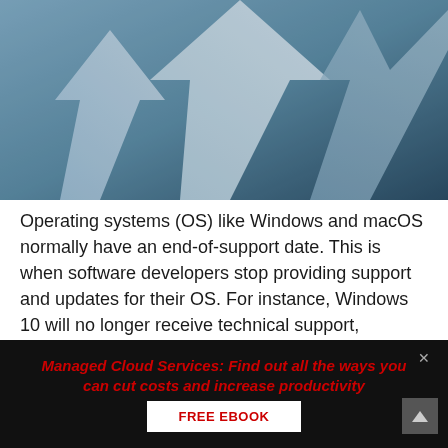[Figure (photo): Blue-toned photo of upward-pointing 3D arrows suggesting growth and progress]
Operating systems (OS) like Windows and macOS normally have an end-of-support date. This is when software developers stop providing support and updates for their OS. For instance, Windows 10 will no longer receive technical support, software updates, and security patches after its OR when it reaches end of support on
Managed Cloud Services: Find out all the ways you can cut costs and increase productivity
FREE EBOOK